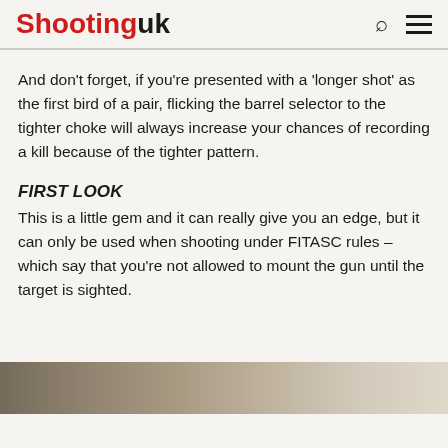Shooting uk
And don't forget, if you're presented with a 'longer shot' as the first bird of a pair, flicking the barrel selector to the tighter choke will always increase your chances of recording a kill because of the tighter pattern.
FIRST LOOK
This is a little gem and it can really give you an edge, but it can only be used when shooting under FITASC rules – which say that you're not allowed to mount the gun until the target is sighted.
[Figure (photo): Partial view of an outdoor shooting scene, cropped at bottom of page]